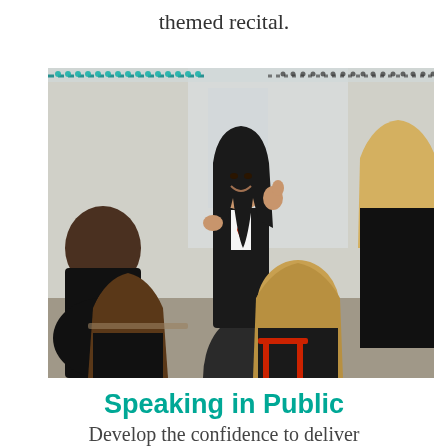themed recital.
[Figure (photo): A smiling schoolgirl in uniform stands speaking and gesturing with her hands to a group of seated classmates in a classroom setting. The students wearing dark school uniforms are listening. There is a red chair visible. The photo has a dotted/perforated border across the top.]
Speaking in Public
Develop the confidence to deliver powerful and engaging speeches, as